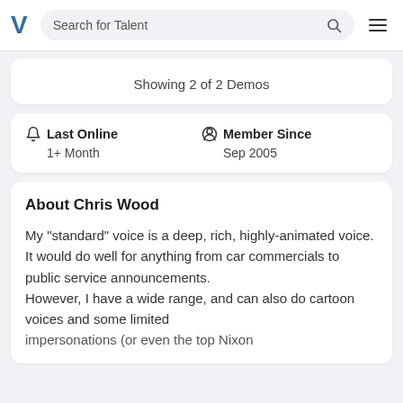Search for Talent
Showing 2 of 2 Demos
Last Online
1+ Month
Member Since
Sep 2005
About Chris Wood
My "standard" voice is a deep, rich, highly-animated voice. It would do well for anything from car commercials to public service announcements.
However, I have a wide range, and can also do cartoon voices and some limited impersonations (or even the top Nixon...